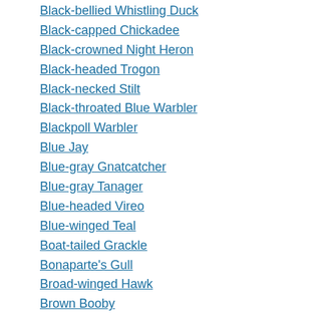Black-bellied Whistling Duck
Black-capped Chickadee
Black-crowned Night Heron
Black-headed Trogon
Black-necked Stilt
Black-throated Blue Warbler
Blackpoll Warbler
Blue Jay
Blue-gray Gnatcatcher
Blue-gray Tanager
Blue-headed Vireo
Blue-winged Teal
Boat-tailed Grackle
Bonaparte's Gull
Broad-winged Hawk
Brown Booby
Brown Pelican
Brown Thrasher
Brown-headed Cowbird